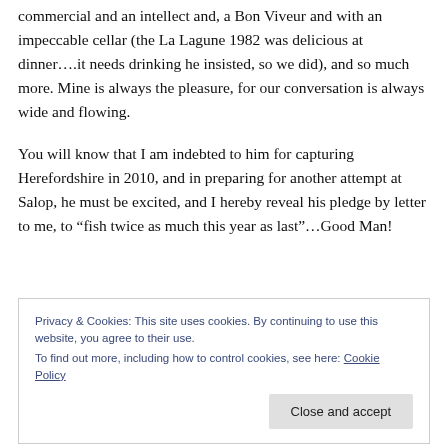commercial and an intellect and, a Bon Viveur and with an impeccable cellar (the La Lagune 1982 was delicious at dinner….it needs drinking he insisted, so we did), and so much more. Mine is always the pleasure, for our conversation is always wide and flowing.
You will know that I am indebted to him for capturing Herefordshire in 2010, and in preparing for another attempt at Salop, he must be excited, and I hereby reveal his pledge by letter to me, to "fish twice as much this year as last"…Good Man!
Privacy & Cookies: This site uses cookies. By continuing to use this website, you agree to their use.
To find out more, including how to control cookies, see here: Cookie Policy